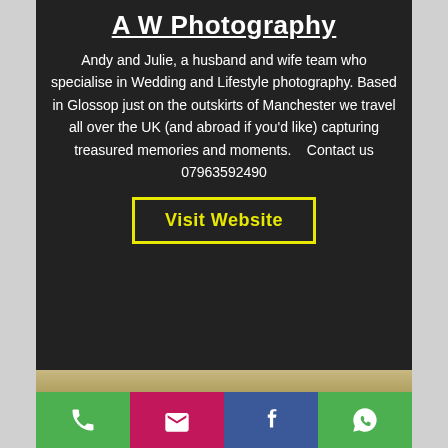A W Photography
Andy and Julie, a husband and wife team who specialise in Wedding and Lifestyle photography. Based in Glossop just on the outskirts of Manchester we travel all over the UK (and abroad if you'd like) capturing treasured memories and moments.   Contact us 07963592490
Visit Website
[Figure (infographic): Bottom icon bar with phone (green), email (pink), Facebook (blue), WhatsApp (green) icons]